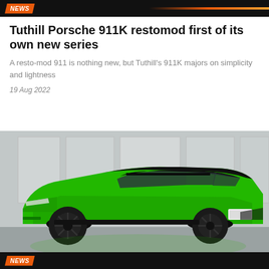NEWS
Tuthill Porsche 911K restomod first of its own new series
A resto-mod 911 is nothing new, but Tuthill's 911K majors on simplicity and lightness
19 Aug 2022
[Figure (photo): Green Lamborghini Urus SUV with black roof and hood, photographed in a grey studio environment from a front three-quarter angle]
NEWS